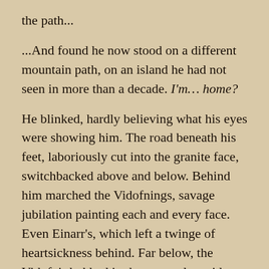the path...
...And found he now stood on a different mountain path, on an island he had not seen in more than a decade. I'm… home?
He blinked, hardly believing what his eyes were showing him. The road beneath his feet, laboriously cut into the granite face, switchbacked above and below. Behind him marched the Vidofnings, savage jubilation painting each and every face. Even Einarr's, which left a twinge of heartsickness behind. Far below, the Vidofnir bobbed in the water alongside a ship with an unfamiliar ramshead on the prow – Einarr's ship, it had to be.